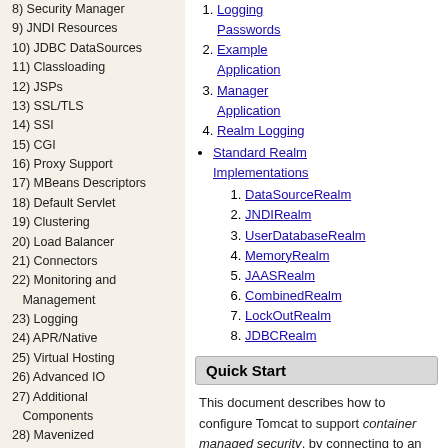8) Security Manager
9) JNDI Resources
10) JDBC DataSources
11) Classloading
12) JSPs
13) SSL/TLS
14) SSI
15) CGI
16) Proxy Support
17) MBeans Descriptors
18) Default Servlet
19) Clustering
20) Load Balancer
21) Connectors
22) Monitoring and Management
23) Logging
24) APR/Native
25) Virtual Hosting
26) Advanced IO
27) Additional Components
28) Mavenized
29) Security Considerations
1. Logging Passwords (link)
2. Example Application (link)
3. Manager Application (link)
4. Realm Logging (link)
Standard Realm Implementations (link)
1. DataSourceRealm
2. JNDIRealm
3. UserDatabaseRealm
4. MemoryRealm
5. JAASRealm
6. CombinedRealm
7. LockOutRealm
8. JDBCRealm
Quick Start
This document describes how to configure Tomcat to support container managed security, by connecting to an existing database of usernames, passwords, and user roles.